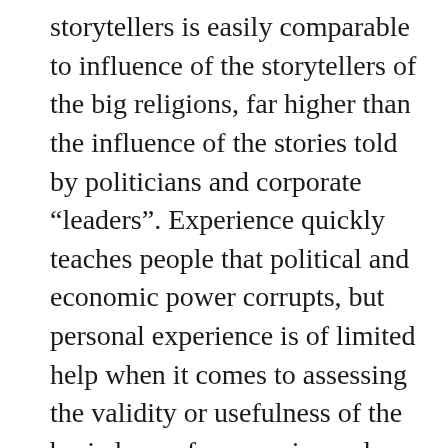storytellers is easily comparable to influence of the storytellers of the big religions, far higher than the influence of the stories told by politicians and corporate “leaders”. Experience quickly teaches people that political and economic power corrupts, but personal experience is of limited help when it comes to assessing the validity or usefulness of the basic laws of economics and moral principles that have been handed down to us by the most popular and “timeless” storytellers and heros.
In contrast to scientific knowledge about the physical and natural world, economic understanding does not relate to a set of stable fundamental principles, but to perceptions of the prevalence of the various economic beliefs